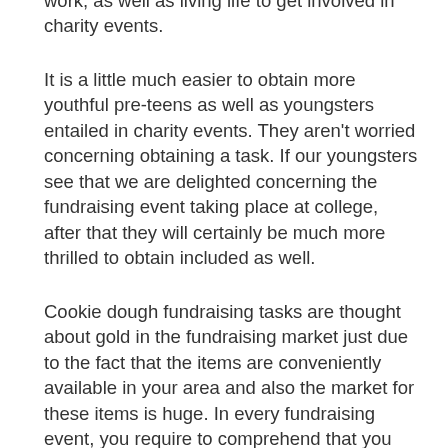active with research, functioning part-time work, as well as living life to get involved in charity events.
It is a little much easier to obtain more youthful pre-teens as well as youngsters entailed in charity events. They aren't worried concerning obtaining a task. If our youngsters see that we are delighted concerning the fundraising event taking place at college, after that they will certainly be much more thrilled to obtain included as well.
Cookie dough fundraising tasks are thought about gold in the fundraising market just due to the fact that the items are conveniently available in your area and also the market for these items is huge. In every fundraising event, you require to comprehend that you are not completing with various other fundraising occasions because this is not your primary purpose. This ensures you that no issue what kind of fundraising techniques you are going to integrate in your occasions, you will certainly get to fundraising success in no time.